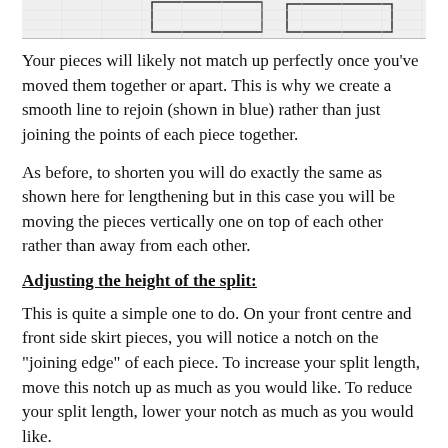[Figure (other): Partial diagram visible at top of page showing pattern pieces]
Your pieces will likely not match up perfectly once you've moved them together or apart. This is why we create a smooth line to rejoin (shown in blue) rather than just joining the points of each piece together.
As before, to shorten you will do exactly the same as shown here for lengthening but in this case you will be moving the pieces vertically one on top of each other rather than away from each other.
Adjusting the height of the split:
This is quite a simple one to do. On your front centre and front side skirt pieces, you will notice a notch on the "joining edge" of each piece. To increase your split length, move this notch up as much as you would like. To reduce your split length, lower your notch as much as you would like.
To remove the split altogether, just completely ignore the notch.